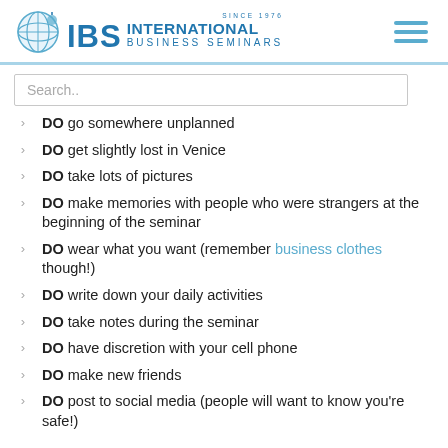IBS International Business Seminars — Since 1976
Search..
DO go somewhere unplanned
DO get slightly lost in Venice
DO take lots of pictures
DO make memories with people who were strangers at the beginning of the seminar
DO wear what you want (remember business clothes though!)
DO write down your daily activities
DO take notes during the seminar
DO have discretion with your cell phone
DO make new friends
DO post to social media (people will want to know you're safe!)